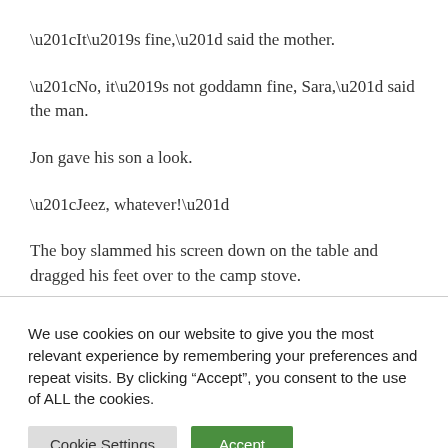“It’s fine,” said the mother.
“No, it’s not goddamn fine, Sara,” said the man.
Jon gave his son a look.
“Jeez, whatever!”
The boy slammed his screen down on the table and dragged his feet over to the camp stove.
We use cookies on our website to give you the most relevant experience by remembering your preferences and repeat visits. By clicking “Accept”, you consent to the use of ALL the cookies.